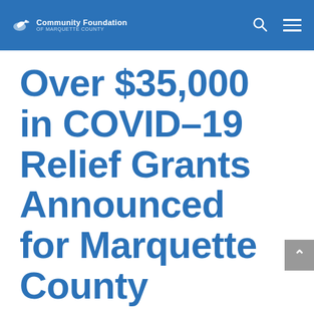Community Foundation of Marquette County
Over $35,000 in COVID-19 Relief Grants Announced for Marquette County